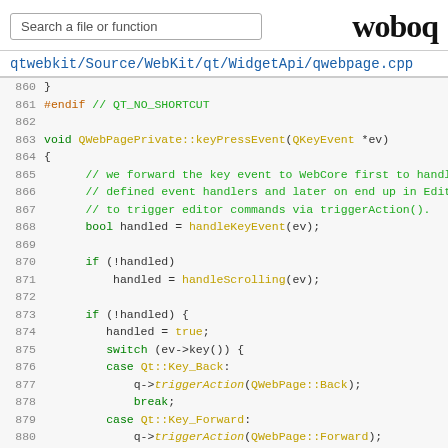Search a file or function | woboq
qtwebkit/Source/WebKit/qt/WidgetApi/qwebpage.cpp
[Figure (screenshot): C++ source code viewer showing lines 860-885 of qwebpage.cpp, including keyPressEvent function implementation with switch/case for Qt key handling]